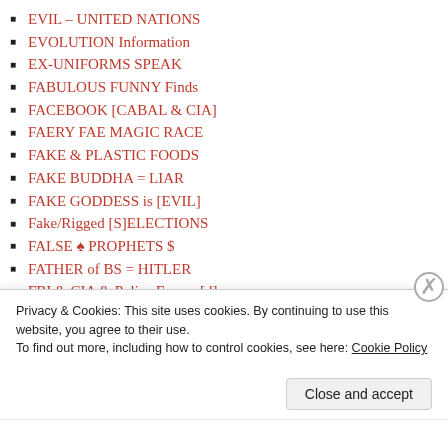EVIL – UNITED NATIONS
EVOLUTION Information
EX-UNIFORMS SPEAK
FABULOUS FUNNY Finds
FACEBOOK [CABAL & CIA]
FAERY FAE MAGIC RACE
FAKE & PLASTIC FOODS
FAKE BUDDHA = LIAR
FAKE GODDESS is [EVIL]
Fake/Rigged [S]ELECTIONS
FALSE ♠ PROPHETS $
FATHER of BS = HITLER
FBI & CIA & Police Expose[d]
FBI & CIA Expose CRIMES
FIRE SALAMANDERS
FLAT EARTH PROOF[S]
FLUORIDE – KILLS US
FLYING HORSES – Pegasus
Privacy & Cookies: This site uses cookies. By continuing to use this website, you agree to their use.
To find out more, including how to control cookies, see here: Cookie Policy
Close and accept